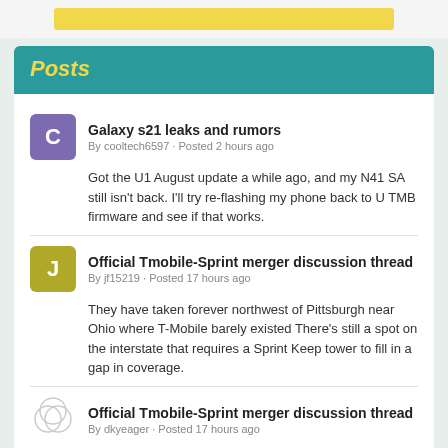Posts
Galaxy s21 leaks and rumors
By cooltech6597 · Posted 2 hours ago
Got the U1 August update a while ago, and my N41 SA still isn't back. I'll try re-flashing my phone back to U TMB firmware and see if that works.
Official Tmobile-Sprint merger discussion thread
By jf15219 · Posted 17 hours ago
They have taken forever northwest of Pittsburgh near Ohio where T-Mobile barely existed There's still a spot on the interstate that requires a Sprint Keep tower to fill in a gap in coverage.
Official Tmobile-Sprint merger discussion thread
By dkyeager · Posted 17 hours ago